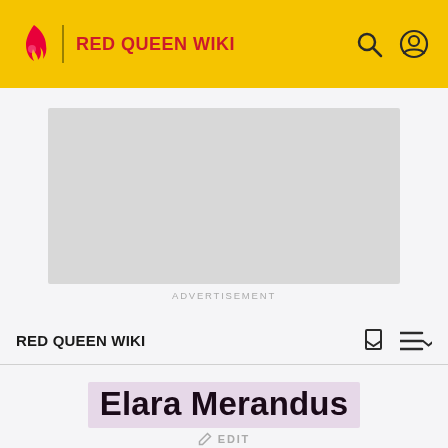RED QUEEN WIKI
[Figure (other): Advertisement placeholder — grey rectangle]
ADVERTISEMENT
RED QUEEN WIKI
Elara Merandus
EDIT